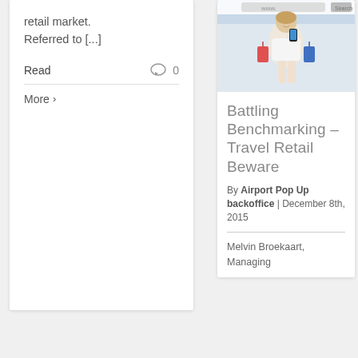retail market. Referred to [...]
Read
0
More >
[Figure (photo): Woman with shopping bags holding a smartphone, standing in front of a store with a browser address bar overlay at the top]
Battling Benchmarking – Travel Retail Beware
By Airport Pop Up backoffice | December 8th, 2015
Melvin Broekaart, Managing